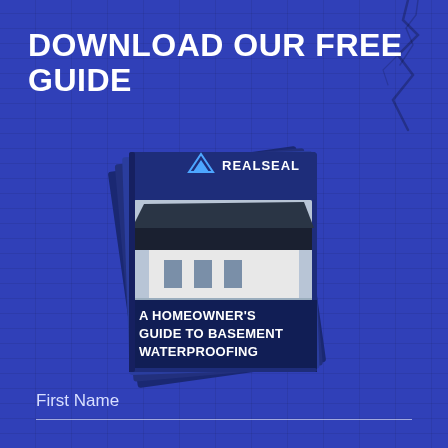DOWNLOAD OUR FREE GUIDE
[Figure (illustration): A stack of booklets/guides with REALSEAL logo on top, showing a house/building with a large canopy roof on the cover, titled 'A HOMEOWNER'S GUIDE TO BASEMENT WATERPROOFING']
First Name